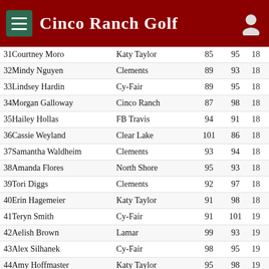Cinco Ranch Golf
| #Name | School | R1 | R2 | Total |
| --- | --- | --- | --- | --- |
| 31Courtney Moro | Katy Taylor | 85 | 95 | 18 |
| 32Mindy Nguyen | Clements | 89 | 93 | 18 |
| 33Lindsey Hardin | Cy-Fair | 89 | 95 | 18 |
| 34Morgan Galloway | Cinco Ranch | 87 | 98 | 18 |
| 35Hailey Hollas | FB Travis | 94 | 91 | 18 |
| 36Cassie Weyland | Clear Lake | 101 | 86 | 18 |
| 37Samantha Waldheim | Clements | 93 | 94 | 18 |
| 38Amanda Flores | North Shore | 95 | 93 | 18 |
| 39Tori Diggs | Clements | 92 | 97 | 18 |
| 40Erin Hagemeier | Katy Taylor | 91 | 98 | 18 |
| 41Teryn Smith | Cy-Fair | 91 | 101 | 19 |
| 42Aelish Brown | Lamar | 99 | 93 | 19 |
| 43Alex Silhanek | Cy-Fair | 98 | 95 | 19 |
| 44Amy Hoffmaster | Katy Taylor | 95 | 98 | 19 |
| 45Arabella Cruz | Cy-Woods | 101 | 94 | 19 |
| 46Ashley Gerard | North Shore | 97 | 99 | 19 |
| 47Peggy Yan | Clements | 96 | 101 | 19 |
| 48Kristen Purser | Katy Taylor | 93 | 104 | 19 |
| 49Samm Liedtke | Clements | 91 | 107 | 19 |
| 50Journey Ewell | FB Travis | 95 | 104 | 19 |
| 51Brittany Buffum | Baytown Sterling Md | 93 | 107 | 19 |